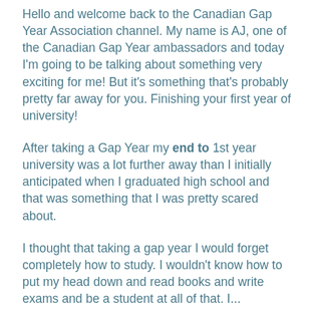Hello and welcome back to the Canadian Gap Year Association channel. My name is AJ, one of the Canadian Gap Year ambassadors and today I'm going to be talking about something very exciting for me! But it's something that's probably pretty far away for you. Finishing your first year of university!
After taking a Gap Year my end to 1st year university was a lot further away than I initially anticipated when I graduated high school and that was something that I was pretty scared about.
I thought that taking a gap year I would forget completely how to study. I wouldn't know how to put my head down and read books and write exams and be a student at all of that. I...